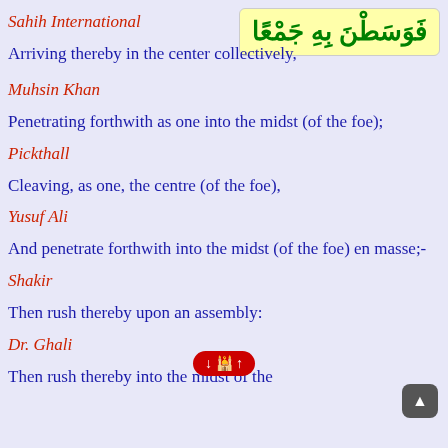فَوَسَطْنَ بِهِ جَمْعًا
Sahih International
Arriving thereby in the center collectively,
Muhsin Khan
Penetrating forthwith as one into the midst (of the foe);
Pickthall
Cleaving, as one, the centre (of the foe),
Yusuf Ali
And penetrate forthwith into the midst (of the foe) en masse;-
Shakir
Then rush thereby upon an assembly:
Dr. Ghali
Then rush thereby into the midst of the...